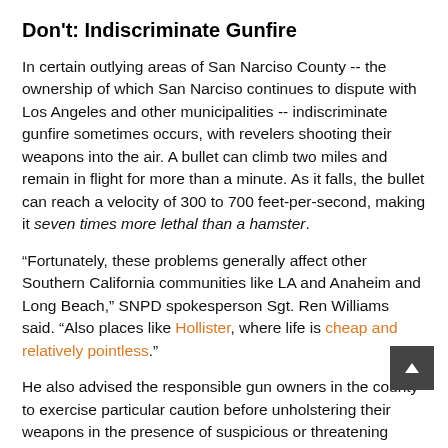Don't: Indiscriminate Gunfire
In certain outlying areas of San Narciso County -- the ownership of which San Narciso continues to dispute with Los Angeles and other municipalities -- indiscriminate gunfire sometimes occurs, with revelers shooting their weapons into the air. A bullet can climb two miles and remain in flight for more than a minute. As it falls, the bullet can reach a velocity of 300 to 700 feet-per-second, making it seven times more lethal than a hamster.
“Fortunately, these problems generally affect other Southern California communities like LA and Anaheim and Long Beach,” SNPD spokesperson Sgt. Ren Williams said. “Also places like Hollister, where life is cheap and relatively pointless.”
He also advised the responsible gun owners in the county to exercise particular caution before unholstering their weapons in the presence of suspicious or threatening persons on Halloween night.
“Although we in San Narciso cherish our Second